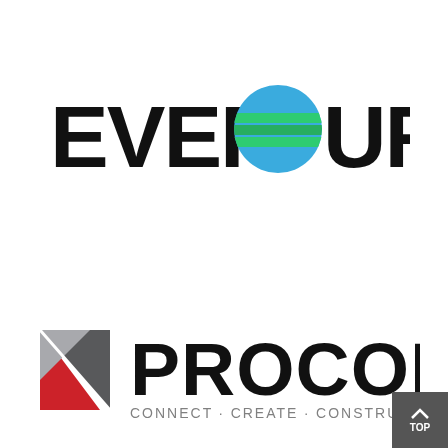[Figure (logo): Eversource Energy logo with bold black text EVERSOURCE and a globe icon replacing the letter O, featuring blue and green horizontal stripes on the globe]
[Figure (logo): Procon logo with a geometric diamond shape made of red, gray, and dark gray triangles, followed by bold black text PROCON and tagline CONNECT · CREATE · CONSTRUCT in gray]